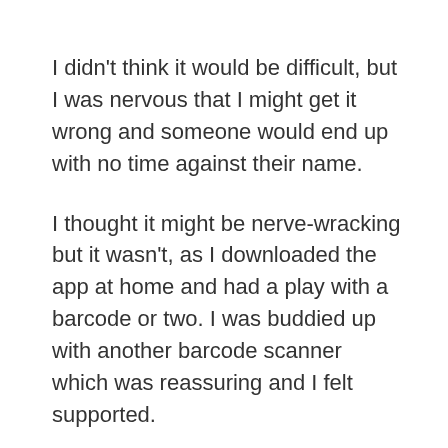I didn't think it would be difficult, but I was nervous that I might get it wrong and someone would end up with no time against their name.
I thought it might be nerve-wracking but it wasn't, as I downloaded the app at home and had a play with a barcode or two. I was buddied up with another barcode scanner which was reassuring and I felt supported.
Initially, I started going to parkrun to meet people but my first time volunteering I had more conversations and met more people that day than any other time I've been there. Normally, I spent those 10 minutes before the